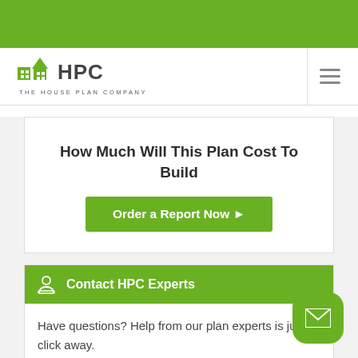[Figure (logo): HPC The House Plan Company logo with green house icon]
How Much Will This Plan Cost To Build
Order a Report Now ▶
Contact HPC Experts
Have questions? Help from our plan experts is just a click away.
Plan Name: